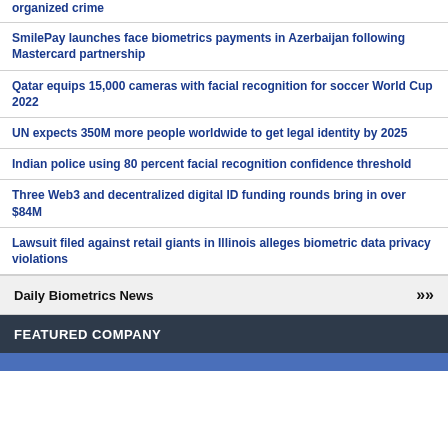organized crime
SmilePay launches face biometrics payments in Azerbaijan following Mastercard partnership
Qatar equips 15,000 cameras with facial recognition for soccer World Cup 2022
UN expects 350M more people worldwide to get legal identity by 2025
Indian police using 80 percent facial recognition confidence threshold
Three Web3 and decentralized digital ID funding rounds bring in over $84M
Lawsuit filed against retail giants in Illinois alleges biometric data privacy violations
Daily Biometrics News >>>
FEATURED COMPANY